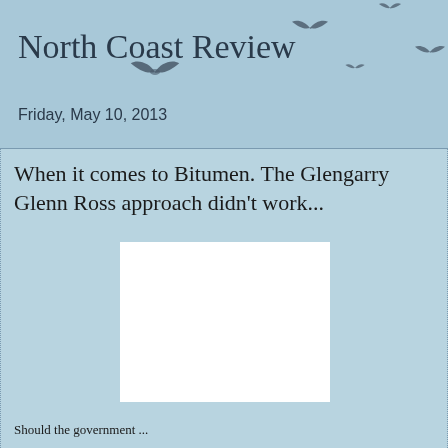North Coast Review
Friday, May 10, 2013
When it comes to Bitumen. The Glengarry Glenn Ross approach didn't work...
[Figure (photo): White rectangle image placeholder]
Should the government ...